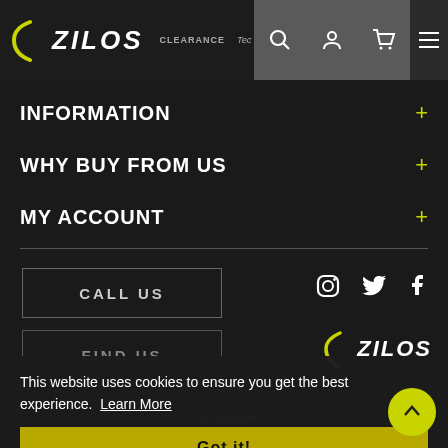ZILOS — header navigation bar with logo, CLEARANCE label, search, account, cart, and menu icons
INFORMATION +
WHY BUY FROM US +
MY ACCOUNT +
CALL US
FIND US
[Figure (other): Instagram, Twitter, Facebook social icons in white]
[Figure (logo): ZILOS logo with yellow parenthesis accent, bottom right]
This website uses cookies to ensure you get the best experience.  Learn More
Got it!
Terms & Policies
ZILOS Ltd © 2022. All Rights Reserved
Designed & Developed by: SK Webline Ltd